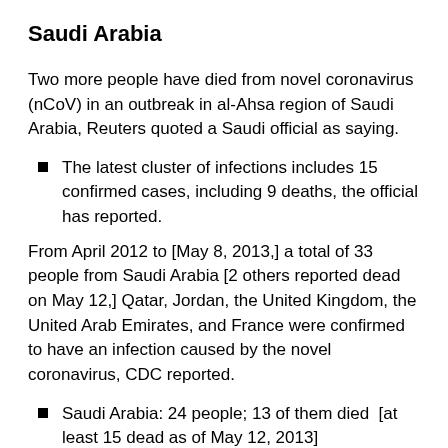Saudi Arabia
Two more people have died from novel coronavirus (nCoV) in an outbreak in al-Ahsa region of Saudi Arabia, Reuters quoted a Saudi official as saying.
The latest cluster of infections includes 15 confirmed cases, including 9 deaths, the official has reported.
From April 2012 to [May 8, 2013,] a total of 33 people from Saudi Arabia [2 others reported dead on May 12,] Qatar, Jordan, the United Kingdom, the United Arab Emirates, and France were confirmed to have an infection caused by the novel coronavirus, CDC reported.
Saudi Arabia: 24 people; 13 of them died  [at least 15 dead as of May 12, 2013]
Qatar: 2 people; both survived